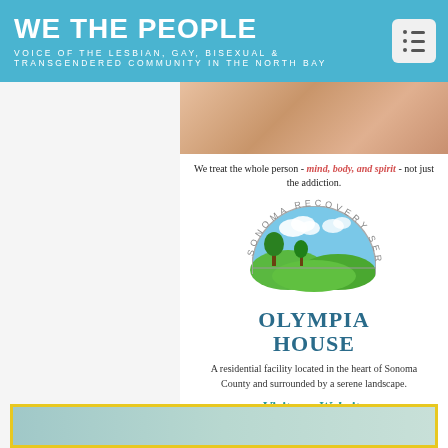WE THE PEOPLE
VOICE OF THE LESBIAN, GAY, BISEXUAL & TRANSGENDERED COMMUNITY IN THE NORTH BAY
[Figure (photo): Partial photo of a person visible at top of content area]
We treat the whole person - mind, body, and spirit - not just the addiction.
[Figure (logo): Sonoma Recovery Services circular logo with landscape illustration showing green hills, trees, and blue sky, with text 'SONOMA RECOVERY SERVICES' around the arc]
OLYMPIA HOUSE
A residential facility located in the heart of Sonoma County and surrounded by a serene landscape.
Visit our Website
[Figure (photo): Partial photo visible at bottom of page inside yellow-bordered box]